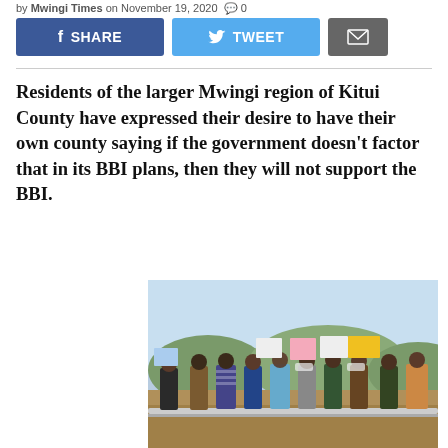by Mwingi Times on November 19, 2020  0
[Figure (infographic): Social sharing buttons: Facebook SHARE (blue), Twitter TWEET (light blue), Email envelope (grey)]
Residents of the larger Mwingi region of Kitui County have expressed their desire to have their own county saying if the government doesn't factor that in its BBI plans, then they will not support the BBI.
[Figure (photo): Group of people standing outdoors holding up signs/placards, some wearing face masks, with hills visible in the background.]